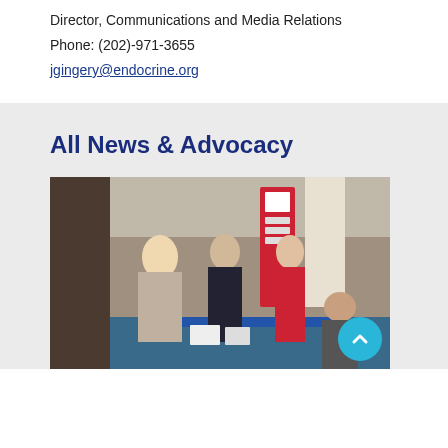Director, Communications and Media Relations
Phone: (202)-971-3655
jgingery@endocrine.org
All News & Advocacy
[Figure (photo): People at an advocacy or conference event, standing around a table with informational materials and banners in the background.]